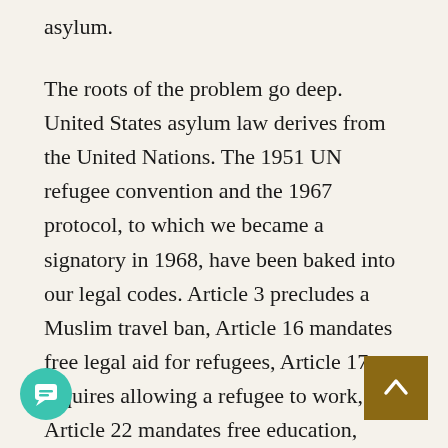asylum.
The roots of the problem go deep. United States asylum law derives from the United Nations. The 1951 UN refugee convention and the 1967 protocol, to which we became a signatory in 1968, have been baked into our legal codes. Article 3 precludes a Muslim travel ban, Article 16 mandates free legal aid for refugees, Article 17 requires allowing a refugee to work, Article 22 mandates free education, Article 23, welfare, Article 26, travel anywhere within the United States, Article 28, travel outside the country, Articles 32 and 33 make deportation very difficult, and Article 31 prohibits imposing, “penalties, on